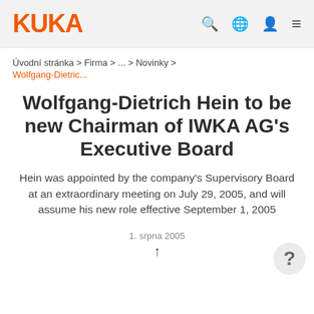KUKA
Úvodní stránka > Firma > ... > Novinky > Wolfgang-Dietric...
Wolfgang-Dietrich Hein to be new Chairman of IWKA AG's Executive Board
Hein was appointed by the company's Supervisory Board at an extraordinary meeting on July 29, 2005, and will assume his new role effective September 1, 2005
1. srpna 2005